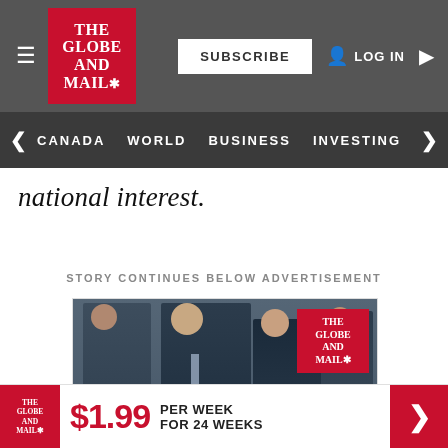The Globe and Mail — SUBSCRIBE | LOG IN
CANADA  WORLD  BUSINESS  INVESTING  WATC
national interest.
STORY CONTINUES BELOW ADVERTISEMENT
[Figure (photo): Photo of political figures at a formal event; man with red poppy on lapel; The Globe and Mail logo overlay in top right]
Understand Canada's most important news in one email
The Globe and Mail — $1.99 PER WEEK FOR 24 WEEKS